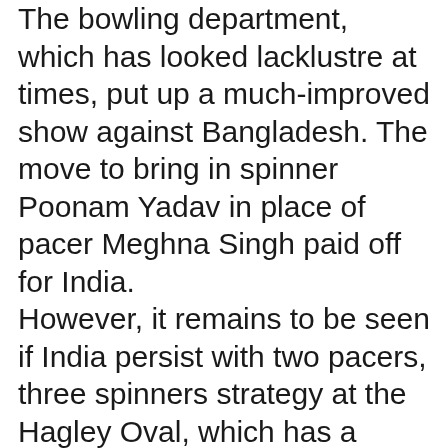The bowling department, which has looked lacklustre at times, put up a much-improved show against Bangladesh. The move to bring in spinner Poonam Yadav in place of pacer Meghna Singh paid off for India. However, it remains to be seen if India persist with two pacers, three spinners strategy at the Hagley Oval, which has a balanced track where the bowlers will have to be disciplined with their line and lengths. South Africa, on the other hand, have already qualified for the semi-finals. They sit second in the overall standings, behind Australia. Here's everything you need to know about the Women's Cricket World Cup 2022 match between India and South Africa.